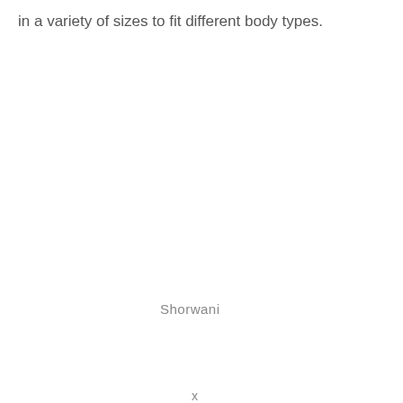in a variety of sizes to fit different body types.
Shorwani
x